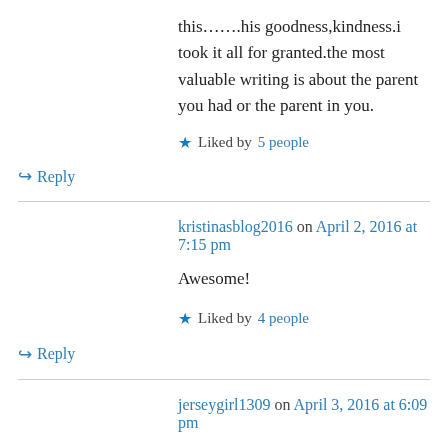this…….his goodness,kindness.i took it all for granted.the most valuable writing is about the parent you had or the parent in you.
Liked by 5 people
↪ Reply
kristinasblog2016 on April 2, 2016 at 7:15 pm
Awesome!
Liked by 4 people
↪ Reply
jerseygirl1309 on April 3, 2016 at 6:09 pm
I love this!! Xx